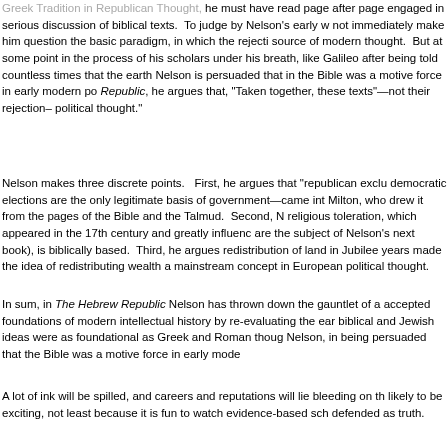Greek Tradition in Republican Thought, he must have read page after page engaged in serious discussion of biblical texts.  To judge by Nelson's early work, not immediately make him question the basic paradigm, in which the rejection was source of modern thought.  But at some point in the process of his scholarship, under his breath, like Galileo after being told countless times that the earth was Nelson is persuaded that in the Bible was a motive force in early modern political Republic, he argues that, "Taken together, these texts"—not their rejection— political thought."
Nelson makes three discrete points.   First, he argues that "republican exclusivism— democratic elections are the only legitimate basis of government—came into being" from Milton, who drew it from the pages of the Bible and the Talmud.  Second, Nelson argues religious toleration, which appeared in the 17th century and greatly influenced (and are the subject of Nelson's next book), is biblically based.  Third, he argues that the redistribution of land in Jubilee years made the idea of redistributing wealth periodically a mainstream concept in European political thought.
In sum, in The Hebrew Republic Nelson has thrown down the gauntlet of a challenge to accepted foundations of modern intellectual history by re-evaluating the early-modern era: biblical and Jewish ideas were as foundational as Greek and Roman thought. Nelson, in being persuaded that the Bible was a motive force in early modern
A lot of ink will be spilled, and careers and reputations will lie bleeding on the floor. It is likely to be exciting, not least because it is fun to watch evidence-based scholarship defended as truth.